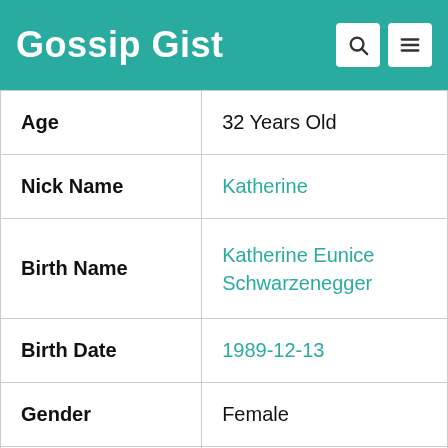Gossip Gist
| Field | Value |
| --- | --- |
| Age | 32 Years Old |
| Nick Name | Katherine |
| Birth Name | Katherine Eunice Schwarzenegger |
| Birth Date | 1989-12-13 |
| Gender | Female |
| Profession | Author |